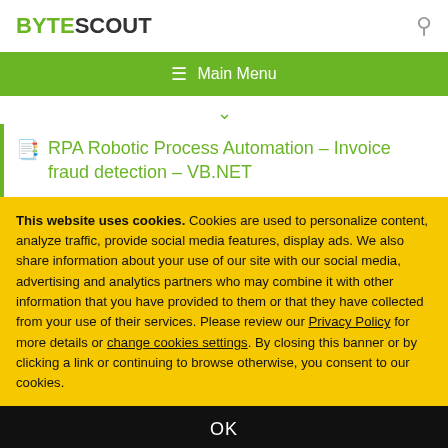BYTESCOUT
≡  Main Menu
RPA Robotic Process Automation – Invoice fraud detection – VB.NET
This website uses cookies. Cookies are used to personalize content, analyze traffic, provide social media features, display ads. We also share information about your use of our site with our social media, advertising and analytics partners who may combine it with other information that you have provided to them or that they have collected from your use of their services. Please review our Privacy Policy for more details or change cookies settings. By closing this banner or by clicking a link or continuing to browse otherwise, you consent to our cookies.
OK